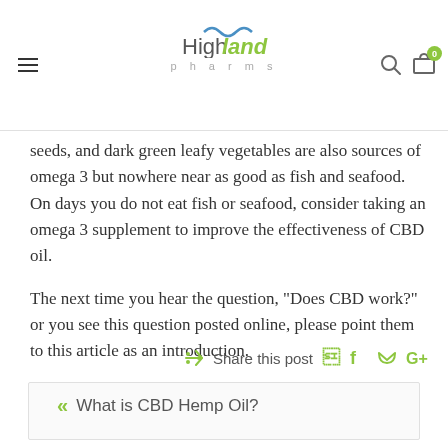Highland Pharms — navigation header with logo, menu, search, and cart icons
seeds, and dark green leafy vegetables are also sources of omega 3 but nowhere near as good as fish and seafood. On days you do not eat fish or seafood, consider taking an omega 3 supplement to improve the effectiveness of CBD oil.
The next time you hear the question, “Does CBD work?” or you see this question posted online, please point them to this article as an introduction.
Share this post
« What is CBD Hemp Oil?